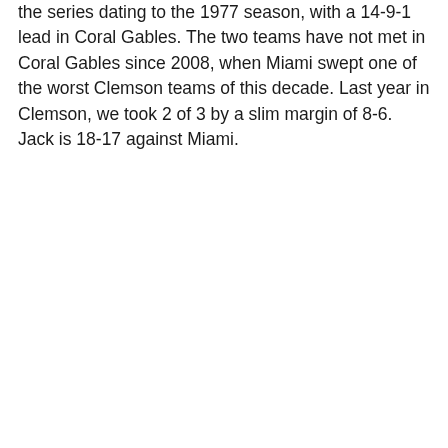the series dating to the 1977 season, with a 14-9-1 lead in Coral Gables. The two teams have not met in Coral Gables since 2008, when Miami swept one of the worst Clemson teams of this decade. Last year in Clemson, we took 2 of 3 by a slim margin of 8-6. Jack is 18-17 against Miami.